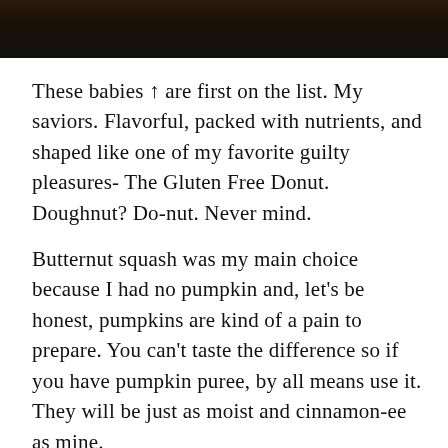[Figure (photo): Dark photograph of food items, partially visible at top of page]
These babies ↑ are first on the list. My saviors. Flavorful, packed with nutrients, and shaped like one of my favorite guilty pleasures- The Gluten Free Donut. Doughnut? Do-nut. Never mind.
Butternut squash was my main choice because I had no pumpkin and, let's be honest, pumpkins are kind of a pain to prepare. You can't taste the difference so if you have pumpkin puree, by all means use it. They will be just as moist and cinnamon-ee as mine.